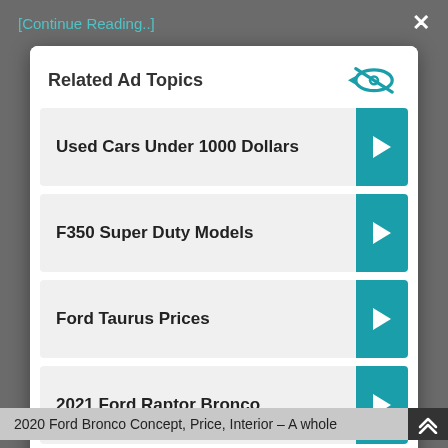[Continue Reading..]
×
Related Ad Topics
Used Cars Under 1000 Dollars
F350 Super Duty Models
Ford Taurus Prices
2021 Ford Raptor Bronco
Continue to Site >>
2020 Ford Bronco Concept, Price, Interior – A whole